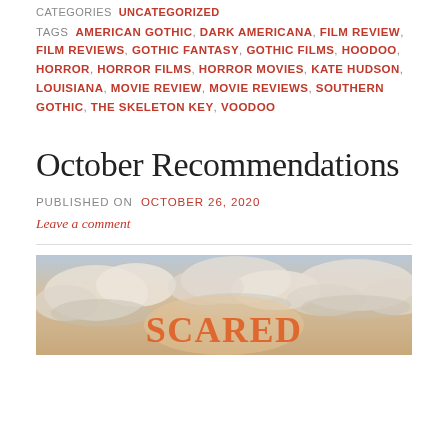CATEGORIES  UNCATEGORIZED
TAGS  AMERICAN GOTHIC, DARK AMERICANA, FILM REVIEW, FILM REVIEWS, GOTHIC FANTASY, GOTHIC FILMS, HOODOO, HORROR, HORROR FILMS, HORROR MOVIES, KATE HUDSON, LOUISIANA, MOVIE REVIEW, MOVIE REVIEWS, SOUTHERN GOTHIC, THE SKELETON KEY, VOODOO
October Recommendations
PUBLISHED ON October 26, 2020
Leave a comment
[Figure (photo): A cloudy sky image with orange/red stylized text partially visible at the bottom reading 'SCARED' or similar title text]